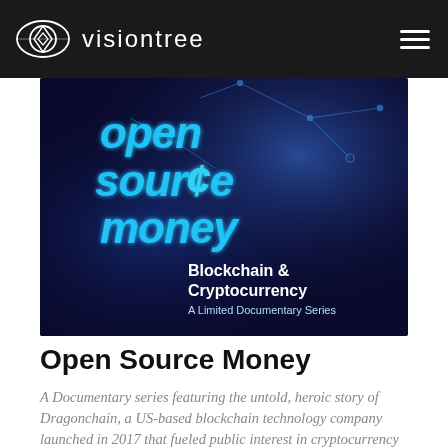visiontree
[Figure (illustration): Open Source Money documentary banner — blue glowing neon text reading 'open source money' with blockchain network node graphics, subtitle 'Blockchain & Cryptocurrency — A Limited Documentary Series']
Open Source Money
A Documentary series featuring the untold, heroic story of Dragonchain, a US-based blockchain technology company launched in 2017 that fueled public interest in cryptocurrency